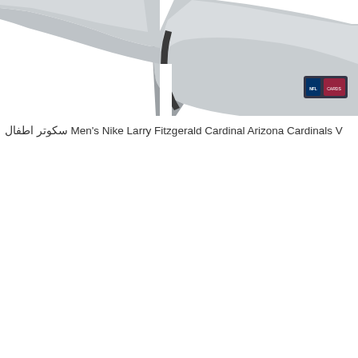[Figure (photo): Partial view of a gray Nike NFL Arizona Cardinals jersey/shirt showing the shoulder and side seam area, with a small NFL and Cardinals patch/tag visible on the lower right.]
سكوتر اطفال Men's Nike Larry Fitzgerald Cardinal Arizona Cardinals V